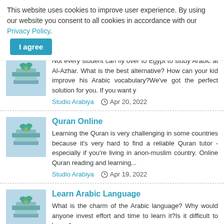This website uses cookies to improve user experience. By using our website you consent to all cookies in accordance with our Privacy Policy. I agree
Not every student can fly over to Egypt to study Arabic at Al-Azhar. What is the best alternative? How can your kid improve his Arabic vocabulary?We've got the perfect solution for you. If you want y
Studio Arabiya   Apr 20, 2022
Quran Online
Learning the Quran is very challenging in some countries because it's very hard to find a reliable Quran tutor - especially if you're living in anon-muslim country. Online Quran reading and learning...
Studio Arabiya   Apr 19, 2022
Learn Arabic Language
What is the charm of the Arabic language? Why would anyone invest effort and time to learn it?Is it difficult to learn Ar
Studio Arabiya   Apr 14, 2022